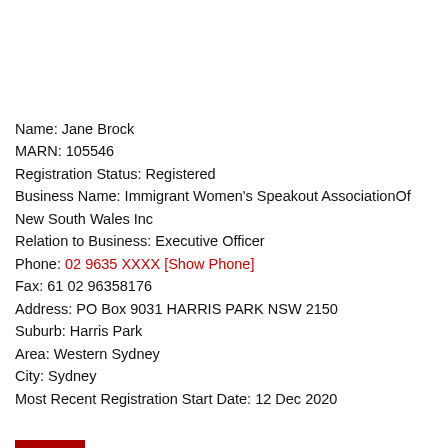Name: Jane Brock
MARN: 105546
Registration Status: Registered
Business Name: Immigrant Women's Speakout AssociationOf New South Wales Inc
Relation to Business: Executive Officer
Phone: 02 9635 XXXX [Show Phone]
Fax: 61 02 96358176
Address: PO Box 9031 HARRIS PARK NSW 2150
Suburb: Harris Park
Area: Western Sydney
City: Sydney
Most Recent Registration Start Date: 12 Dec 2020